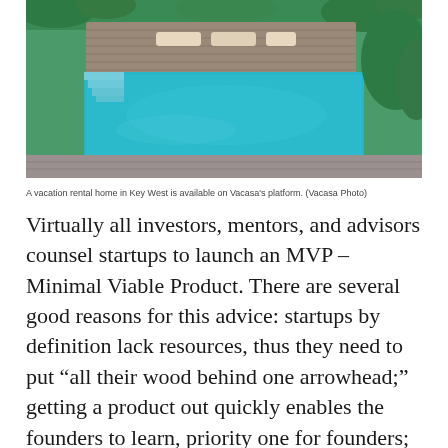[Figure (photo): Aerial/overhead view of a luxury vacation rental home pool area in Key West, showing a turquoise swimming pool, wooden deck with lounge chairs, and surrounding tropical greenery.]
A vacation rental home in Key West is available on Vacasa's platform. (Vacasa Photo)
Virtually all investors, mentors, and advisors counsel startups to launch an MVP – Minimal Viable Product. There are several good reasons for this advice: startups by definition lack resources, thus they need to put “all their wood behind one arrowhead;” getting a product out quickly enables the founders to learn, priority one for founders; and an MVP minimizes the cost of failure, enabling a startup to try again.